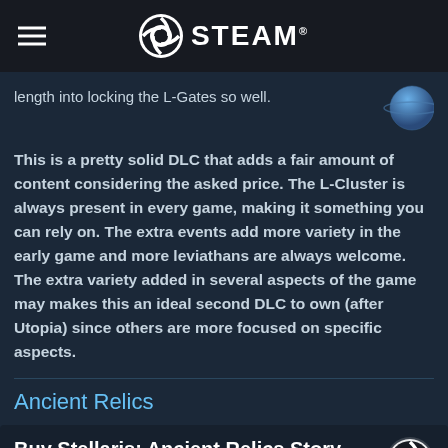STEAM
length into locking the L-Gates so well.
This is a pretty solid DLC that adds a fair amount of content considering the asked price. The L-Cluster is always present in every game, making it something you can rely on. The extra events add more variety in the early game and more leviathans are always welcome. The extra variety added in several aspects of the game may makes this an ideal second DLC to own (after Utopia) since others are more focused on specific aspects.
Ancient Relics
Buy Stellaris: Ancient Relics Story Pack
[Figure (screenshot): Stellaris: Ancient Relics game cover art with purple/pink gradient background showing STELLARIS title and ANCIENT RELICS subtitle]
Uncover the ruins of long-dead civilizations in Relic Worlds to piece together the story of their rise and eventual downfall. Excavate their derelict cities and ships to unearth the truth, discover